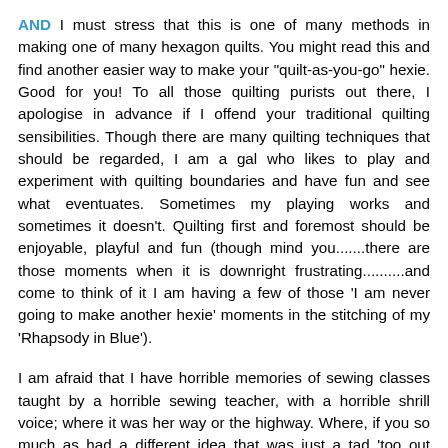AND I must stress that this is one of many methods in making one of many hexagon quilts. You might read this and find another easier way to make your "quilt-as-you-go" hexie. Good for you! To all those quilting purists out there, I apologise in advance if I offend your traditional quilting sensibilities. Though there are many quilting techniques that should be regarded, I am a gal who likes to play and experiment with quilting boundaries and have fun and see what eventuates. Sometimes my playing works and sometimes it doesn't. Quilting first and foremost should be enjoyable, playful and fun (though mind you.......there are those moments when it is downright frustrating..........and come to think of it I am having a few of those 'I am never going to make another hexie' moments in the stitching of my 'Rhapsody in Blue').
I am afraid that I have horrible memories of sewing classes taught by a horrible sewing teacher, with a horrible shrill voice; where it was her way or the highway. Where, if you so much as had a different idea that was just a tad 'too out there' then she would look at you menacingly with her rather